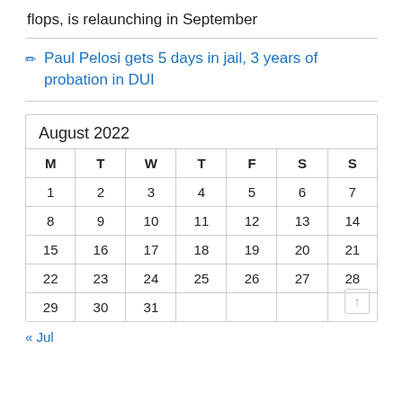flops, is relaunching in September
✎  Paul Pelosi gets 5 days in jail, 3 years of probation in DUI
| M | T | W | T | F | S | S |
| --- | --- | --- | --- | --- | --- | --- |
| 1 | 2 | 3 | 4 | 5 | 6 | 7 |
| 8 | 9 | 10 | 11 | 12 | 13 | 14 |
| 15 | 16 | 17 | 18 | 19 | 20 | 21 |
| 22 | 23 | 24 | 25 | 26 | 27 | 28 |
| 29 | 30 | 31 |  |  |  |  |
« Jul